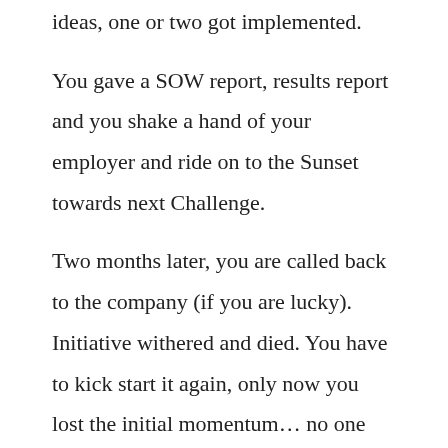ideas, one or two got implemented. You gave a SOW report, results report and you shake a hand of your employer and ride on to the Sunset towards next Challenge. Two months later, you are called back to the company (if you are lucky). Initiative withered and died. You have to kick start it again, only now you lost the initial momentum… no one wants to be part of it. Support from I-team is diminished, Management is frustrated and wants a quick and painless fix, but you can't deliver. All odds are against you. You have only couple of